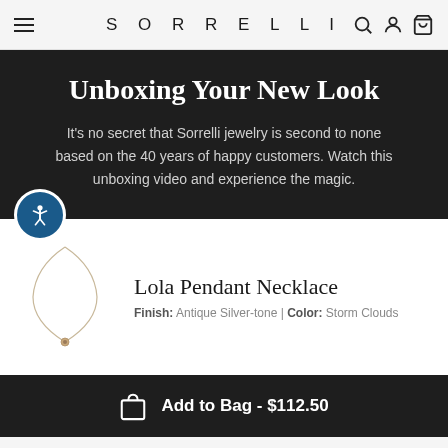SORRELLI
Unboxing Your New Look
It's no secret that Sorrelli jewelry is second to none based on the 40 years of happy customers. Watch this unboxing video and experience the magic.
[Figure (photo): Lola Pendant Necklace product photo showing a delicate chain necklace with a small pendant on a white background]
Lola Pendant Necklace
Finish: Antique Silver-tone | Color: Storm Clouds
Add to Bag - $112.50